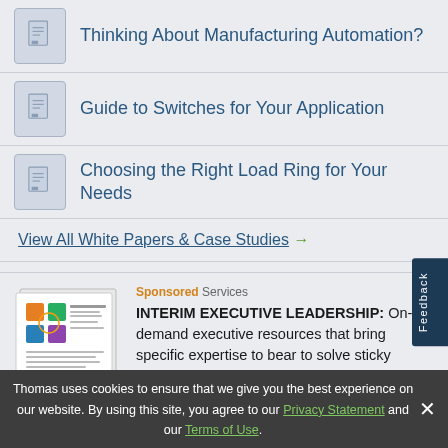Thinking About Manufacturing Automation?
Guide to Switches for Your Application
Choosing the Right Load Ring for Your Needs
View All White Papers & Case Studies →
[Figure (illustration): Book/brochure cover image for Interim Executive Leadership sponsored content]
Sponsored Services
INTERIM EXECUTIVE LEADERSHIP: On-demand executive resources that bring specific expertise to bear to solve sticky problems in your business.
Sponsored Material Handling & Storage (partially visible)
Thomas uses cookies to ensure that we give you the best experience on our website. By using this site, you agree to our Privacy Statement and our Terms of Use.